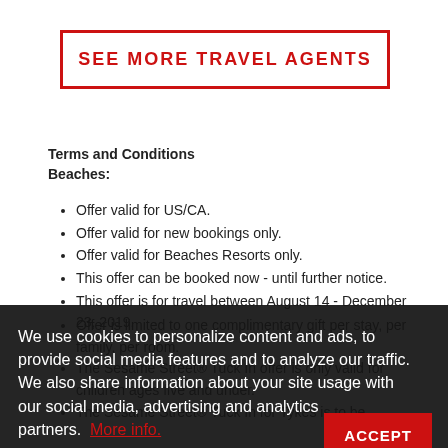SEE MORE TRAVEL AGENTS
Terms and Conditions
Beaches:
Offer valid for US/CA.
Offer valid for new bookings only.
Offer valid for Beaches Resorts only.
This offer can be booked now - until further notice.
This offer is for travel between August 14 - December 23, 2019.
Offer is limited to one complimentary gift per stay, per family, per room.
The Sesame Street® Tuck In offer is only valid for children ages five and under.
The Sesame Street® Tuck In for Tykes is to be
We use cookies to personalize content and ads, to provide social media features and to analyze our traffic. We also share information about your site usage with our social media, advertising and analytics partners.  More info.
ACCEPT